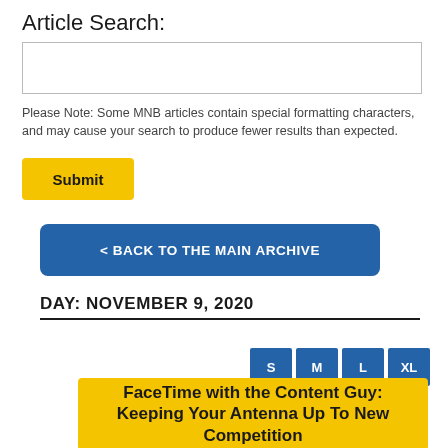Article Search:
Please Note: Some MNB articles contain special formatting characters, and may cause your search to produce fewer results than expected.
Submit
< BACK TO THE MAIN ARCHIVE
DAY: NOVEMBER 9, 2020
S M L XL
FaceTime with the Content Guy: Keeping Your Antenna Up To New Competition